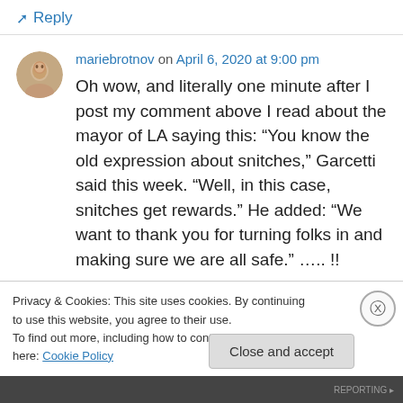↳ Reply
mariebrotnov on April 6, 2020 at 9:00 pm
Oh wow, and literally one minute after I post my comment above I read about the mayor of LA saying this: “You know the old expression about snitches,” Garcetti said this week. “Well, in this case, snitches get rewards.” He added: “We want to thank you for turning folks in and making sure we are all safe.” ….. !!
Privacy & Cookies: This site uses cookies. By continuing to use this website, you agree to their use.
To find out more, including how to control cookies, see here: Cookie Policy
Close and accept